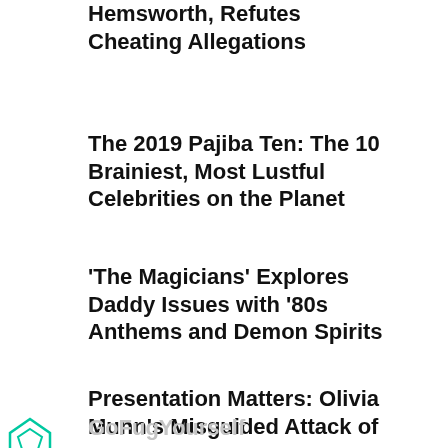Hemsworth, Refutes Cheating Allegations
The 2019 Pajiba Ten: The 10 Brainiest, Most Lustful Celebrities on the Planet
'The Magicians' Explores Daddy Issues with '80s Anthems and Demon Spirits
Presentation Matters: Olivia Munn's Misguided Attack of
GoFugYourself
[Figure (other): HEADERBIDDING.COM advertisement banner - Your source for all things programmatic advertising.]
Finale Is a Master's Class in